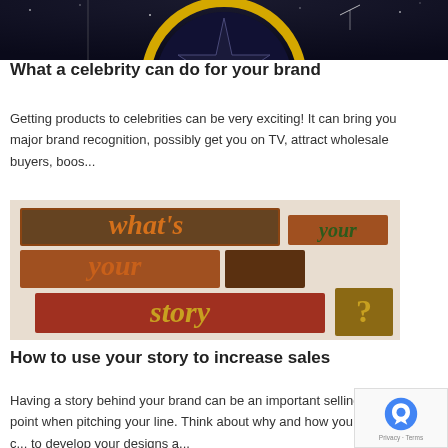[Figure (photo): Top portion of a gold star emblem/logo on a dark starry background, partially cropped]
What a celebrity can do for your brand
Getting products to celebrities can be very exciting! It can bring you major brand recognition, possibly get you on TV, attract wholesale buyers, boos...
[Figure (photo): Letterpress wooden block letters spelling out 'what's your story?' in colorful wooden type blocks]
How to use your story to increase sales
Having a story behind your brand can be an important selling point when pitching your line. Think about why and how you c... to develop your designs a...